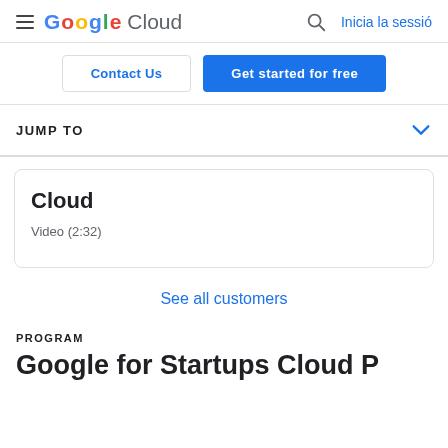Google Cloud  Inicia la sessió
Contact Us
Get started for free
JUMP TO
Cloud
Video (2:32)
See all customers
PROGRAM
Google for Startups Cloud P...